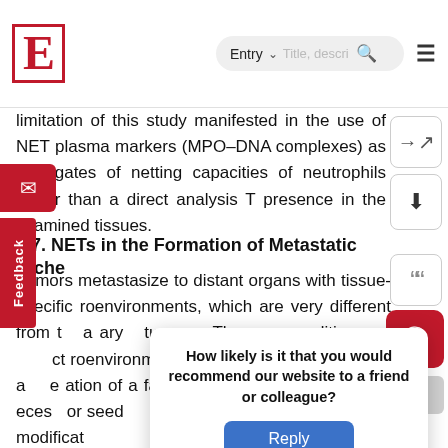E [logo] | Entry ~ | Title, descri... [search] [menu]
limitation of this study manifested in the use of NET plasma markers (MPO–DNA complexes) as surrogates of netting capacities of neutrophils rather than a direct analysis T presence in the examined tissues.
2.7. NETs in the Formation of Metastatic Niche
Tumors metastasize to distant organs with tissue-specific roenvironments, which are very different from t a ary tumor. The precondition of ct roenvironments involving ECM remodeling a e ation of a favorable pre-metastatic niche eces or seed common modificat n d collagen ominates along w such as
How likely is it that you would recommend our website to a friend or colleague?
Reply